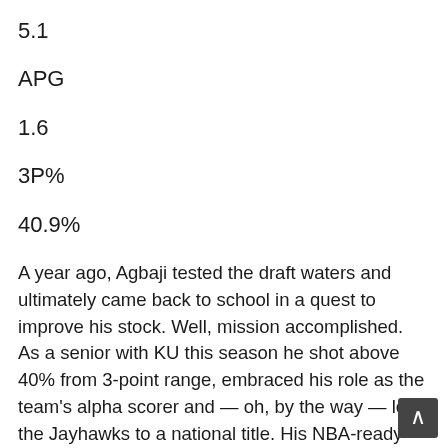5.1
APG
1.6
3P%
40.9%
A year ago, Agbaji tested the draft waters and ultimately came back to school in a quest to improve his stock. Well, mission accomplished. As a senior with KU this season he shot above 40% from 3-point range, embraced his role as the team's alpha scorer and — oh, by the way — led the Jayhawks to a national title. His NBA-ready body, defensive intensity and outside shooting scream NBA role